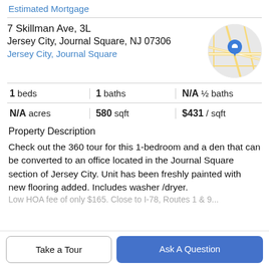Estimated Mortgage
7 Skillman Ave, 3L
Jersey City, Journal Square, NJ 07306
Jersey City, Journal Square
[Figure (map): Circular map thumbnail showing street map with blue location pin marker for Jersey City, Journal Square area.]
| 1 beds | 1 baths | N/A ½ baths |
| N/A acres | 580 sqft | $431 / sqft |
Property Description
Check out the 360 tour for this 1-bedroom and a den that can be converted to an office located in the Journal Square section of Jersey City. Unit has been freshly painted with new flooring added. Includes washer /dryer.
Low HOA fee of only $165. Close to I-78, Routes 1 & 9...
Take a Tour
Ask A Question